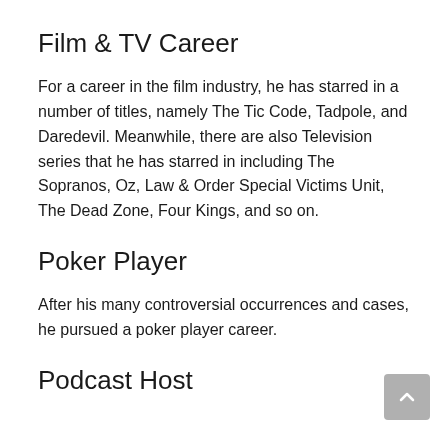Film & TV Career
For a career in the film industry, he has starred in a number of titles, namely The Tic Code, Tadpole, and Daredevil. Meanwhile, there are also Television series that he has starred in including The Sopranos, Oz, Law & Order Special Victims Unit, The Dead Zone, Four Kings, and so on.
Poker Player
After his many controversial occurrences and cases, he pursued a poker player career.
Podcast Host